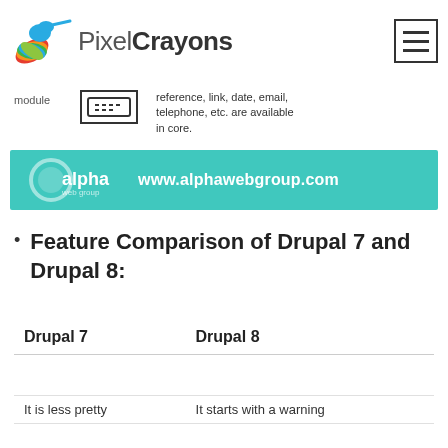PixelCrayons
module
reference, link, date, email, telephone, etc. are available in core.
[Figure (logo): Alpha web group logo with teal background and URL www.alphawebgroup.com]
Feature Comparison of Drupal 7 and Drupal 8:
| Drupal 7 | Drupal 8 |
| --- | --- |
|  |  |
| It is less pretty | It starts with a warning |